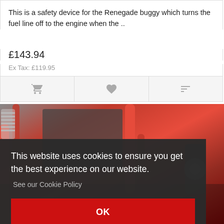This is a safety device for the Renegade buggy which turns the fuel line off to the engine when the ..
£143.94
Ex Tax: £119.95
[Figure (photo): Close-up photo of a red-framed buggy/go-kart chassis showing red roll cage tubing, suspension components, and mechanical parts.]
This website uses cookies to ensure you get the best experience on our website. See our Cookie Policy
OK